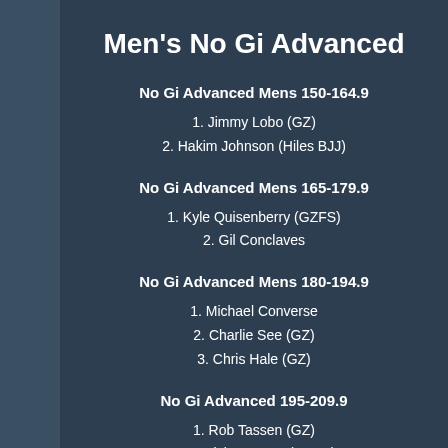Men's No Gi Advanced
No Gi Advanced Mens 150-164.9
1. Jimmy Lobo (GZ)
2. Hakim Johnson (Hiles BJJ)
No Gi Advanced Mens 165-179.9
1. Kyle Quisenberry (GZFS)
2. Gil Conclaves
No Gi Advanced Mens 180-194.9
1. Michael Converse
2. Charlie See (GZ)
3. Chris Hale (GZ)
No Gi Advanced 195-209.9
1. Rob Tassen (GZ)
2. Patrick Stevens (GZFS)